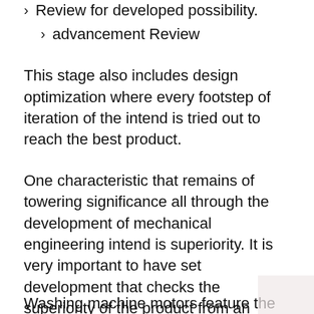Review for developed possibility.
advancement Review
This stage also includes design optimization where every footstep of iteration of the intend is tried out to reach the best product.
One characteristic that remains of towering significance all through the development of mechanical engineering intend is superiority. It is very important to have set development that checks the superiority of the product from an outlook that can be most strange to the overall product development impression. A complete dispassionate and customer listening carefully effort to see quality standards is crucial in any engineering mean.
Washing machine motors feature the